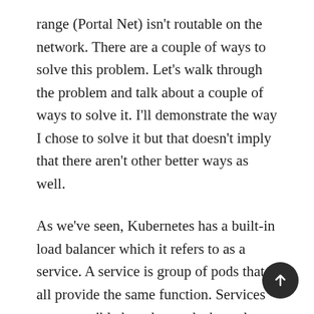range (Portal Net) isn't routable on the network. There are a couple of ways to solve this problem. Let's walk through the problem and talk about a couple of ways to solve it. I'll demonstrate the way I chose to solve it but that doesn't imply that there aren't other better ways as well.
As we've seen, Kubernetes has a built-in load balancer which it refers to as a service. A service is group of pods that all provide the same function. Services are accessible by other pods through an IP address which is allocated out of the clusters portal net allocation. This all works out rather well for the pods but only because the way that we get traffic to the service. Recall from our earlier posts that we need to use some iptables (netfilter) tricks to get